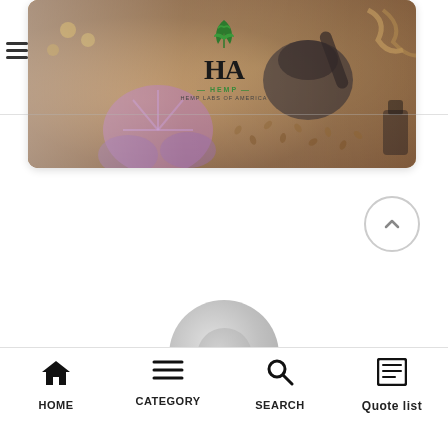[Figure (screenshot): Hemp-related product hero banner image with mortar and pestle, herbs, seeds, and purple orchid flower. HA HEMP logo centered at top with leaf icon.]
[Figure (illustration): Circular back-to-top arrow button (chevron up inside circle)]
[Figure (illustration): Loading spinner circle in gray tones]
HOME   CATEGORY   SEARCH   Quote list